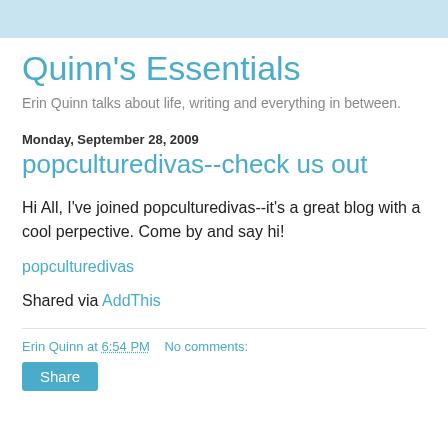Quinn's Essentials
Erin Quinn talks about life, writing and everything in between.
Monday, September 28, 2009
popculturedivas--check us out
Hi All, I've joined popculturedivas--it's a great blog with a cool perpective. Come by and say hi!
popculturedivas
Shared via AddThis
Erin Quinn at 6:54 PM   No comments:
Share